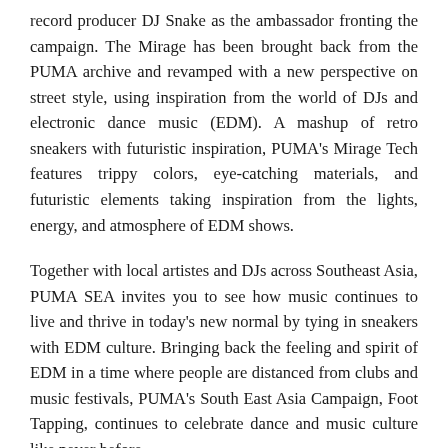record producer DJ Snake as the ambassador fronting the campaign. The Mirage has been brought back from the PUMA archive and revamped with a new perspective on street style, using inspiration from the world of DJs and electronic dance music (EDM). A mashup of retro sneakers with futuristic inspiration, PUMA's Mirage Tech features trippy colors, eye‑catching materials, and futuristic elements taking inspiration from the lights, energy, and atmosphere of EDM shows.
Together with local artistes and DJs across Southeast Asia, PUMA SEA invites you to see how music continues to live and thrive in today's new normal by tying in sneakers with EDM culture. Bringing back the feeling and spirit of EDM in a time where people are distanced from clubs and music festivals, PUMA's South East Asia Campaign, Foot Tapping, continues to celebrate dance and music culture like never before.